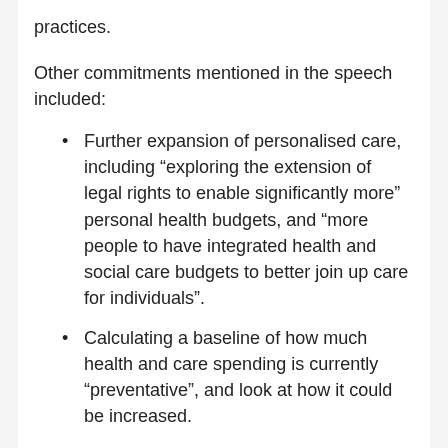practices.
Other commitments mentioned in the speech included:
Further expansion of personalised care, including “exploring the extension of legal rights to enable significantly more” personal health budgets, and “more people to have integrated health and social care budgets to better join up care for individuals”.
Calculating a baseline of how much health and care spending is currently “preventative”, and look at how it could be increased.
Requiring NHS England and integrated care systems “to commit to joint delivery plans to